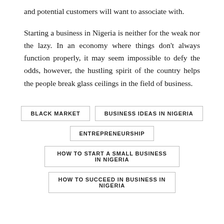and potential customers will want to associate with.
Starting a business in Nigeria is neither for the weak nor the lazy. In an economy where things don't always function properly, it may seem impossible to defy the odds, however, the hustling spirit of the country helps the people break glass ceilings in the field of business.
BLACK MARKET
BUSINESS IDEAS IN NIGERIA
ENTREPRENEURSHIP
HOW TO START A SMALL BUSINESS IN NIGERIA
HOW TO SUCCEED IN BUSINESS IN NIGERIA